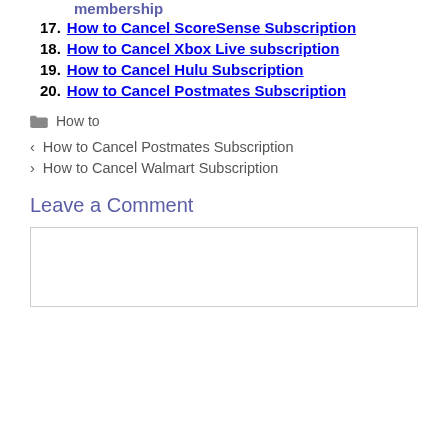membership
17. How to Cancel ScoreSense Subscription
18. How to Cancel Xbox Live subscription
19. How to Cancel Hulu Subscription
20. How to Cancel Postmates Subscription
How to
How to Cancel Postmates Subscription
How to Cancel Walmart Subscription
Leave a Comment